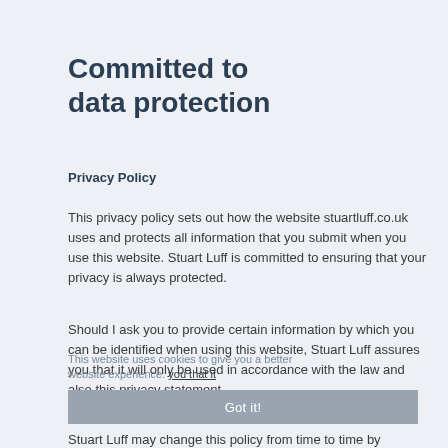Committed to data protection
Privacy Policy
This privacy policy sets out how the website stuartluff.co.uk uses and protects all information that you submit when you use this website. Stuart Luff is committed to ensuring that your privacy is always protected.
Should I ask you to provide certain information by which you can be identified when using this website, Stuart Luff assures you that it will only be used in accordance with the law and also this privacy statement.
This website uses cookies to give you a better website experience.
Got it!
Stuart Luff may change this policy from time to time by